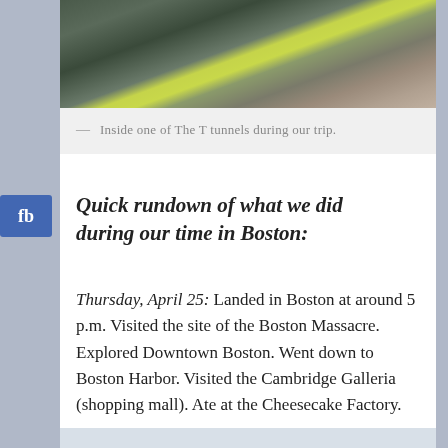[Figure (photo): Inside view of The T tunnel, showing railway tracks and a yellow/green platform edge from above.]
— Inside one of The T tunnels during our trip.
Quick rundown of what we did during our time in Boston:
Thursday, April 25: Landed in Boston at around 5 p.m. Visited the site of the Boston Massacre. Explored Downtown Boston. Went down to Boston Harbor. Visited the Cambridge Galleria (shopping mall). Ate at the Cheesecake Factory.